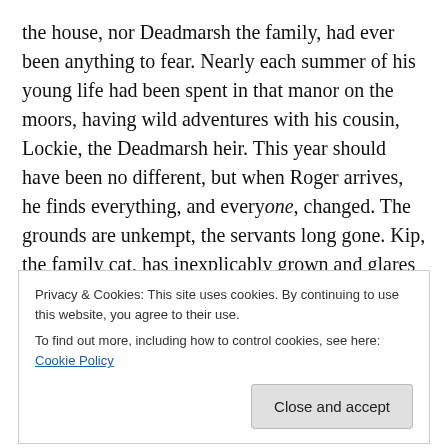the house, nor Deadmarsh the family, had ever been anything to fear. Nearly each summer of his young life had been spent in that manor on the moors, having wild adventures with his cousin, Lockie, the Deadmarsh heir. This year should have been no different, but when Roger arrives, he finds everything, and everyone, changed. The grounds are unkempt, the servants long gone. Kip, the family cat, has inexplicably grown and glares at Roger as if he is trying to read the boy's mind. Roger's eldest cousin, Travers, always treated as a servant, now dresses like a duchess and wears round her neck a strange
Privacy & Cookies: This site uses cookies. By continuing to use this website, you agree to their use.
To find out more, including how to control cookies, see here: Cookie Policy
Close and accept